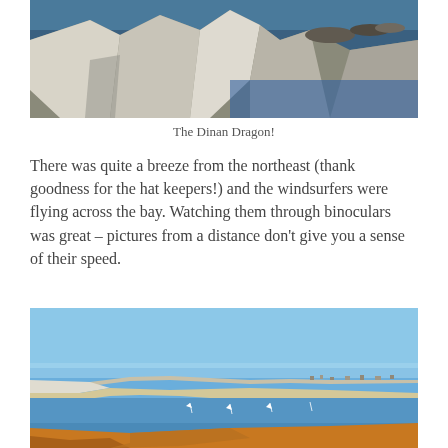[Figure (photo): Coastal cliffs with white/grey rocks and dark blue sea water, sunny day, overhead view of rocky coastline]
The Dinan Dragon!
There was quite a breeze from the northeast (thank goodness for the hat keepers!) and the windsurfers were flying across the bay. Watching them through binoculars was great – pictures from a distance don't give you a sense of their speed.
[Figure (photo): Wide bay view from elevated position showing blue sky, white chalk cliffs, sandy beach, calm blue sea with small sailboats/windsurfers visible, coastal town in background, foreground showing orange-brown vegetation]